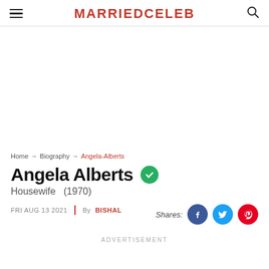MARRIEDCELEB
Home → Biography → Angela-Alberts
Angela Alberts
Housewife   (1970)
FRI AUG 13 2021  |  By BISHAL
Shares:
ADVERTISEMENT